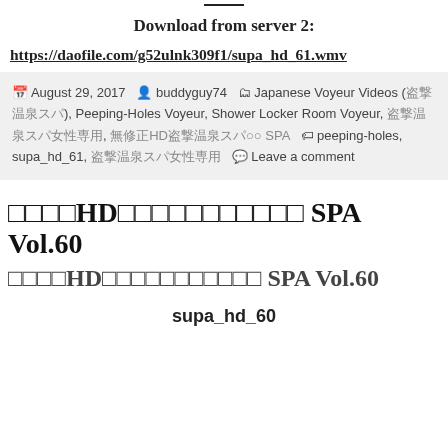Download from server 2:
https://daofile.com/g52ulnk309f1/supa_hd_61.wmv
August 29, 2017   buddyguy74   Japanese Voyeur Videos (日本語), Peeping-Holes Voyeur, Shower Locker Room Voyeur, 盗撮温泉スパ女性専用, 無修正HD盗撮温泉スパ○○ SPA   peeping-holes, supa_hd_61, 盗撮温泉スパ女性専用   Leave a comment
無修正HD盗撮温泉スパ○○ SPA Vol.60
無修正HD盗撮温泉スパ○○ SPA Vol.60
supa_hd_60